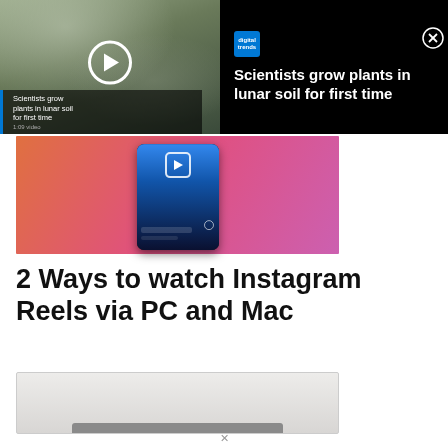[Figure (screenshot): Video player banner overlay showing a science video thumbnail (plants in lunar soil) with play button and Digital Trends logo, on black background. Title text reads: Scientists grow plants in lunar soil for first time]
[Figure (screenshot): Instagram Reels interface screenshot showing a phone screen with a reel video on a pink/orange gradient background]
2 Ways to watch Instagram Reels via PC and Mac
[Figure (screenshot): Partial screenshot of a laptop or Mac computer, showing the top edge of the device against a light background]